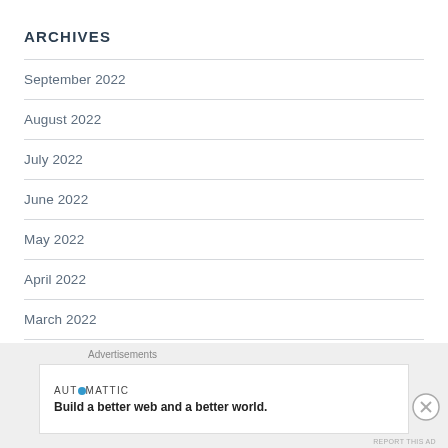ARCHIVES
September 2022
August 2022
July 2022
June 2022
May 2022
April 2022
March 2022
Advertisements
AUTOMATTIC
Build a better web and a better world.